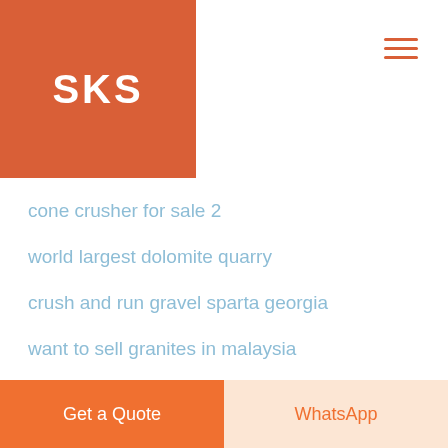SKS
cone crusher for sale 2
world largest dolomite quarry
crush and run gravel sparta georgia
want to sell granites in malaysia
china raymond mill sale price
sitemap Copyright © 2000-2021 .SKS All rights reserved.
Get a Quote
WhatsApp